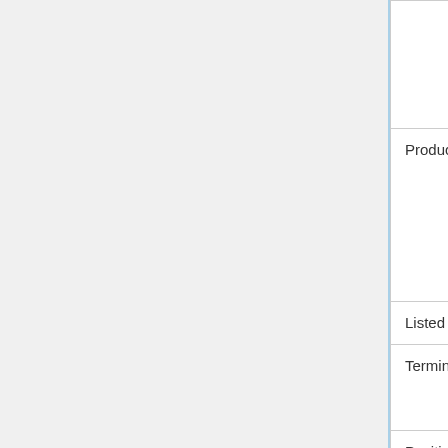| Field | Value |
| --- | --- |
|  | p.m. – 6:00 p.m. CT |
| Product Code | CME Globex: GNF
CME ClearPort: NF
Open Outcry: NF
Clearing: NF |
| Listed Contracts | Monthly contracts listed for 24 consecutive months |
| Termination of Trading | Trading terminates on the business day immediately preceding the day on which the USDA announces the Nonfat Dry Milk price for that contract month. (LTD 12:10 p.m.) |
| Position |  |